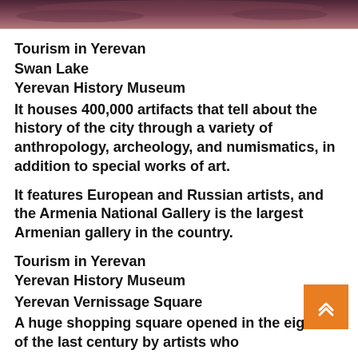[Figure (photo): Top strip of a photo showing a dark reddish/purple indoor or architectural scene]
Tourism in Yerevan
Swan Lake
Yerevan History Museum
It houses 400,000 artifacts that tell about the history of the city through a variety of anthropology, archeology, and numismatics, in addition to special works of art.
It features European and Russian artists, and the Armenia National Gallery is the largest Armenian gallery in the country.
Tourism in Yerevan
Yerevan History Museum
Yerevan Vernissage Square
A huge shopping square opened in the eighties of the last century by artists who